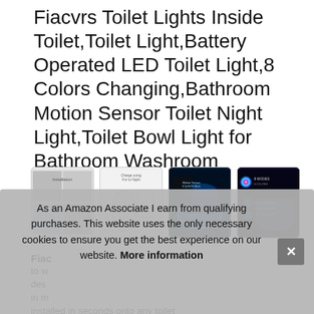Fiacvrs Toilet Lights Inside Toilet,Toilet Light,Battery Operated LED Toilet Light,8 Colors Changing,Bathroom Motion Sensor Toilet Night Light,Toilet Bowl Light for Bathroom Washroom
[Figure (photo): Four product thumbnail images: 1) Installation instructions collage, 2) Product component diagram on white background, 3) Toilet bowl with blue LED light in dark setting, 4) Toilet with colorful LED options on dark background]
Fiac
to w
des
in m
installed in seconds onto any toilet
As an Amazon Associate I earn from qualifying purchases. This website uses the only necessary cookies to ensure you get the best experience on our website. More information